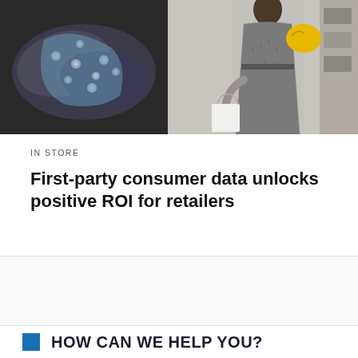[Figure (photo): Two photos side by side: left shows folded floral scarves/fabric accessories on a dark surface; right shows a woman in a patterned grey dress carrying a yellow bag and white shopping bag.]
IN STORE
First-party consumer data unlocks positive ROI for retailers
HOW CAN WE HELP YOU?